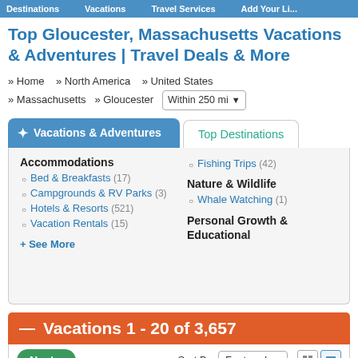Destinations   Vacations   Travel Services   Add Your Li...
Top Gloucester, Massachusetts Vacations & Adventures | Travel Deals & More
» Home   » North America   » United States   » Massachusetts   » Gloucester   Within 250 mi
✦ Vacations & Adventures
Top Destinations
Accommodations
Bed & Breakfasts (17)
Campgrounds & RV Parks (3)
Hotels & Resorts (521)
Vacation Rentals (15)
Fishing Trips (42)
Nature & Wildlife
Whale Watching (1)
Personal Growth & Educational
+ See More
— Vacations 1 - 20 of 3,657
Next »   Sort By   Featured